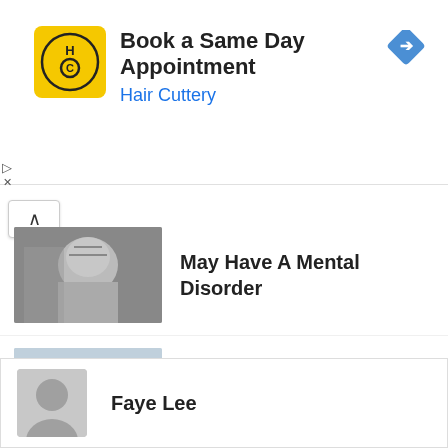[Figure (screenshot): Hair Cuttery advertisement banner: yellow logo with HC letters, text 'Book a Same Day Appointment' and 'Hair Cuttery' in blue, blue navigation diamond icon on right]
May Have A Mental Disorder
The Signs A Man Is Interested
Give Yourself A Health Boost; The Best Ingredients...
Faye Lee